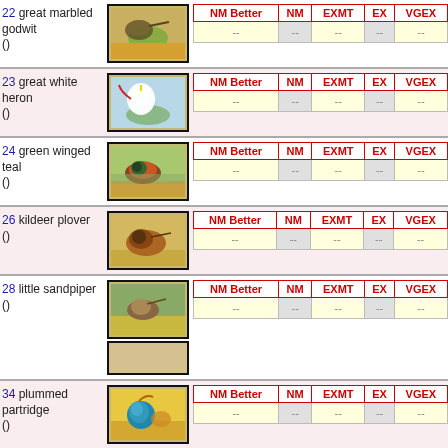| Item | Image | NM Better | NM | EXMT | EX | VGEX |
| --- | --- | --- | --- | --- | --- | --- |
| 22 great marbled godwit () | [img] | -- | -- | -- | -- | -- |
| 23 great white heron () | [img] | -- | -- | -- | -- | -- |
| 24 green winged teal () | [img] | -- | -- | -- | -- | -- |
| 26 kildeer plover () | [img] | -- | -- | -- | -- | -- |
| 28 little sandpiper () | [img] | -- | -- | -- | -- | -- |
| 34 plummed partridge () | [img] | -- | -- | -- | -- | -- |